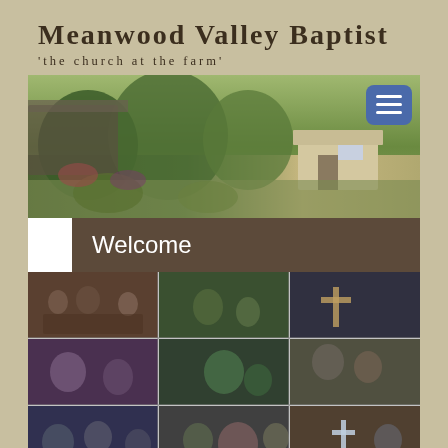Meanwood Valley Baptist
'the church at the farm'
[Figure (photo): Panoramic photo of farm grounds with green vegetation, trees, and a building in the background. A hamburger/menu button appears in the top right corner.]
Welcome
[Figure (photo): Photo collage showing multiple images of church community gatherings, people meeting, worship events, and outdoor activities.]
Coronavirus (COVID-19)
We're sorry to say that we're not currently gathering physically for public worship, meetings and events